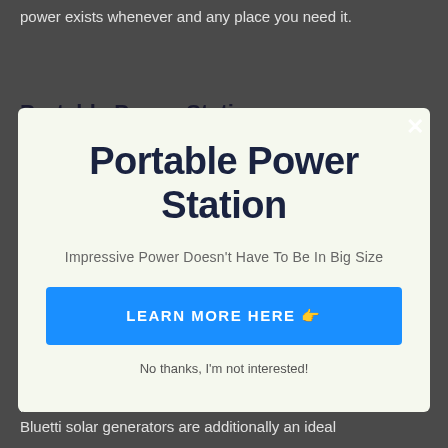power exists whenever and any place you need it.
Portable Power Stations
[Figure (screenshot): Modal popup with close X button, title 'Portable Power Station', subtitle 'Impressive Power Doesn't Have To Be In Big Size', blue CTA button 'LEARN MORE HERE 👉', and 'No thanks, I'm not interested!' dismiss link]
audio speakers, mini fridges freezer, radios, projectors and even more. What's even more, Bluetti solar generators are additionally an ideal